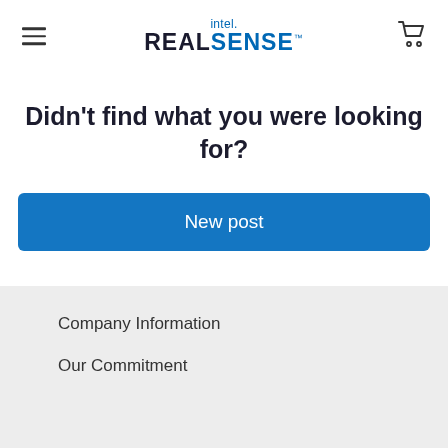intel. REALSENSE™
Didn't find what you were looking for?
New post
Company Information
Our Commitment